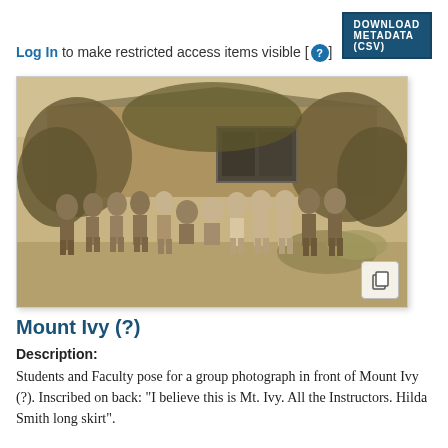DOWNLOAD METADATA (CSV)
Log In to make restricted access items visible [ ? ]
[Figure (photo): Black and white photograph of students and faculty posing for a group photograph in front of Mount Ivy (?), a building covered in ivy, with people standing in a row outdoors.]
Mount Ivy (?)
Description:
Students and Faculty pose for a group photograph in front of Mount Ivy (?). Inscribed on back: "I believe this is Mt. Ivy. All the Instructors. Hilda Smith long skirt".